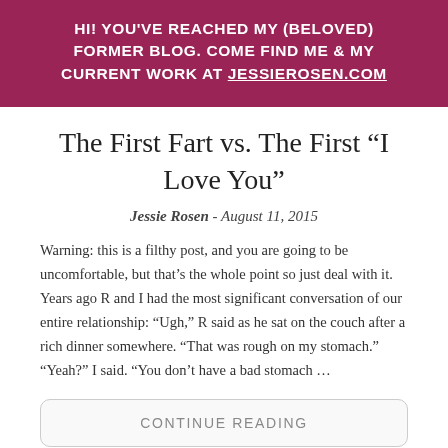HI! YOU'VE REACHED MY (BELOVED) FORMER BLOG. COME FIND ME & MY CURRENT WORK AT JESSIEROSEN.COM
The First Fart vs. The First “I Love You”
Jessie Rosen - August 11, 2015
Warning: this is a filthy post, and you are going to be uncomfortable, but that’s the whole point so just deal with it. Years ago R and I had the most significant conversation of our entire relationship: “Ugh,” R said as he sat on the couch after a rich dinner somewhere. “That was rough on my stomach.” “Yeah?” I said. “You don’t have a bad stomach …
CONTINUE READING